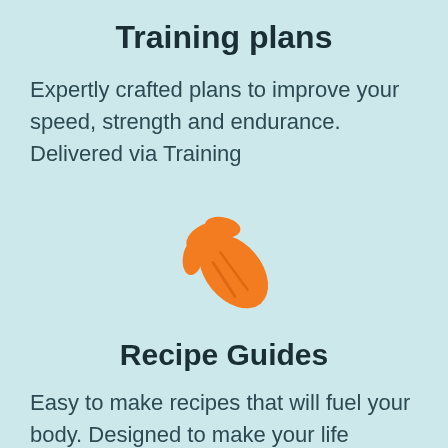Training plans
Expertly crafted plans to improve your speed, strength and endurance. Delivered via Training
[Figure (illustration): Orange carrot icon]
Recipe Guides
Easy to make recipes that will fuel your body. Designed to make your life easier.